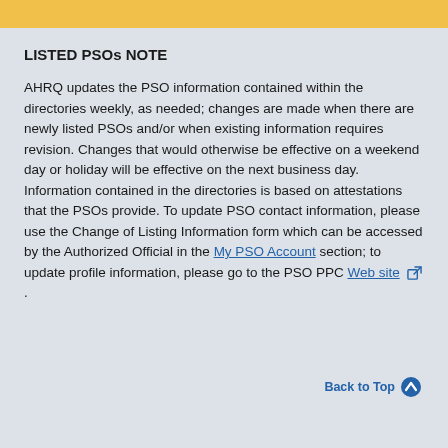LISTED PSOs NOTE
AHRQ updates the PSO information contained within the directories weekly, as needed; changes are made when there are newly listed PSOs and/or when existing information requires revision. Changes that would otherwise be effective on a weekend day or holiday will be effective on the next business day. Information contained in the directories is based on attestations that the PSOs provide. To update PSO contact information, please use the Change of Listing Information form which can be accessed by the Authorized Official in the My PSO Account section; to update profile information, please go to the PSO PPC Web site.